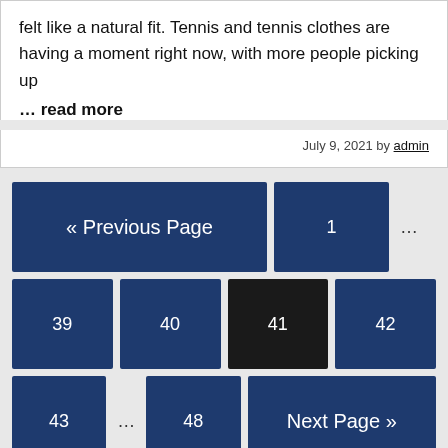felt like a natural fit. Tennis and tennis clothes are having a moment right now, with more people picking up
... read more
July 9, 2021 by admin
« Previous Page | 1 | ... | 39 | 40 | 41 | 42 | 43 | ... | 48 | Next Page »